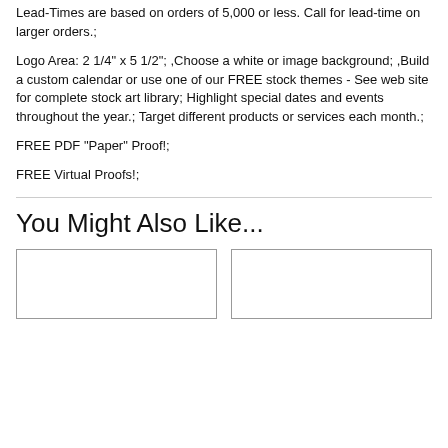Lead-Times are based on orders of 5,000 or less. Call for lead-time on larger orders.;
Logo Area: 2 1/4" x 5 1/2"; ,Choose a white or image background; ,Build a custom calendar or use one of our FREE stock themes - See web site for complete stock art library; Highlight special dates and events throughout the year.; Target different products or services each month.;
FREE PDF "Paper" Proof!;
FREE Virtual Proofs!;
You Might Also Like...
[Figure (other): Two empty card/image boxes side by side]